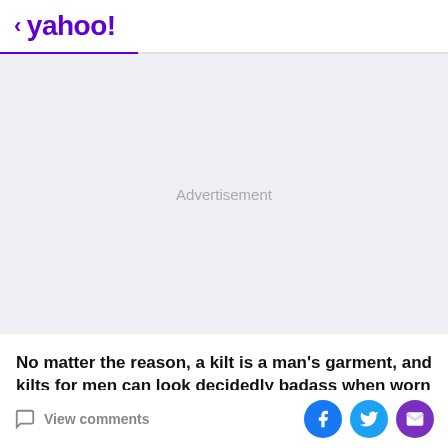< yahoo!
[Figure (other): Advertisement placeholder area with light blue-gray background and centered 'Advertisement' text]
No matter the reason, a kilt is a man's garment, and kilts for men can look decidedly badass when worn correctly
View comments | Share on Facebook | Share on Twitter | Share via Email